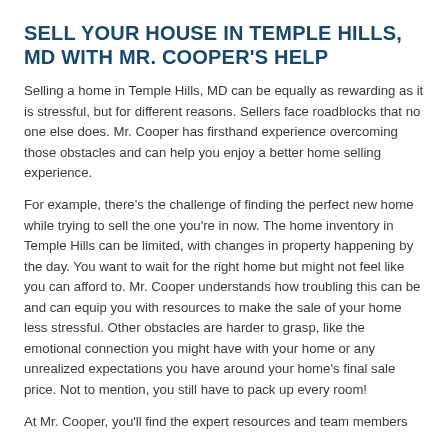SELL YOUR HOUSE IN TEMPLE HILLS, MD WITH MR. COOPER'S HELP
Selling a home in Temple Hills, MD can be equally as rewarding as it is stressful, but for different reasons. Sellers face roadblocks that no one else does. Mr. Cooper has firsthand experience overcoming those obstacles and can help you enjoy a better home selling experience.
For example, there's the challenge of finding the perfect new home while trying to sell the one you're in now. The home inventory in Temple Hills can be limited, with changes in property happening by the day. You want to wait for the right home but might not feel like you can afford to. Mr. Cooper understands how troubling this can be and can equip you with resources to make the sale of your home less stressful. Other obstacles are harder to grasp, like the emotional connection you might have with your home or any unrealized expectations you have around your home's final sale price. Not to mention, you still have to pack up every room!
At Mr. Cooper, you'll find the expert resources and team members